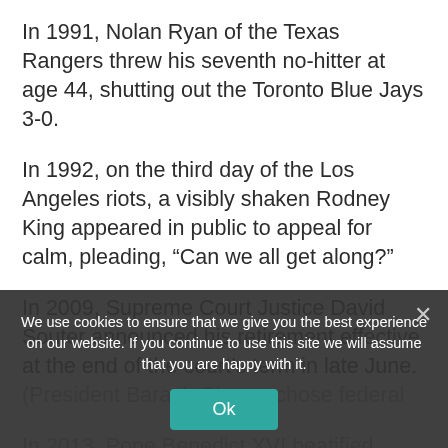In 1991, Nolan Ryan of the Texas Rangers threw his seventh no-hitter at age 44, shutting out the Toronto Blue Jays 3-0.
In 1992, on the third day of the Los Angeles riots, a visibly shaken Rodney King appeared in public to appeal for calm, pleading, “Can we all get along?”
In 2009, Supreme Court Justice David Souter announced his retirement effective at the end of the court’s term in late June. (President Barack Obama chose federal
In 2013, Pope Benedict XVI beatified Pope John Paul II, moving his predecessor step
We use cookies to ensure that we give you the best experience on our website. If you continue to use this site we will assume that you are happy with it.